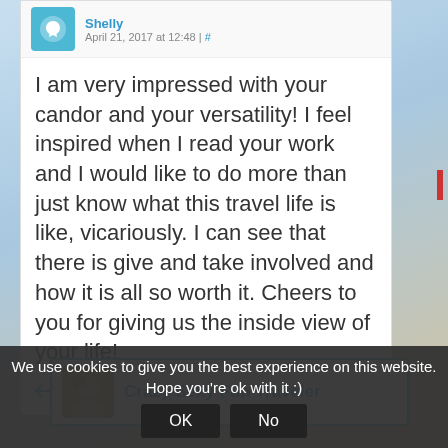April 21, 2017 at 12:48 | #
I am very impressed with your candor and your versatility! I feel inspired when I read your work and I would like to do more than just know what this travel life is like, vicariously. I can see that there is give and take involved and how it is all so worth it. Cheers to you for giving us the inside view of your life!
↩ Reply
Crazy Sexy Fun Traveler
We use cookies to give you the best experience on this website. Hope you're ok with it :)